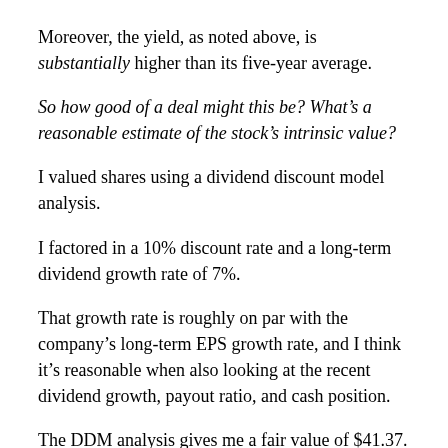Moreover, the yield, as noted above, is substantially higher than its five-year average.
So how good of a deal might this be? What's a reasonable estimate of the stock's intrinsic value?
I valued shares using a dividend discount model analysis.
I factored in a 10% discount rate and a long-term dividend growth rate of 7%.
That growth rate is roughly on par with the company's long-term EPS growth rate, and I think it's reasonable when also looking at the recent dividend growth, payout ratio, and cash position.
The DDM analysis gives me a fair value of $41.37.